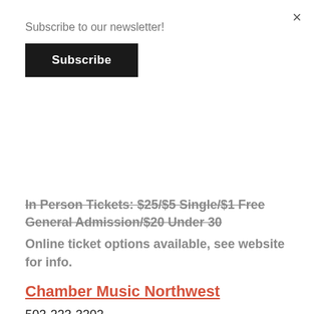×
Subscribe to our newsletter!
Subscribe
In Person Tickets: $25/$5 Single/$1 Free General Admission/$20 Under 30
Online ticket options available, see website for info.
Chamber Music Northwest
503-223-3202
View Organizer Website
info@cmnw.org
Kaul Auditorium
3203 SE Woodstock Blvd